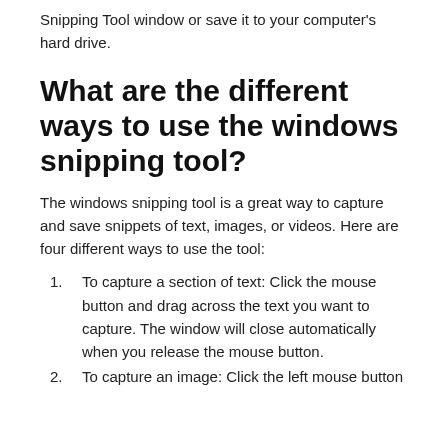Snipping Tool window or save it to your computer's hard drive.
What are the different ways to use the windows snipping tool?
The windows snipping tool is a great way to capture and save snippets of text, images, or videos. Here are four different ways to use the tool:
To capture a section of text: Click the mouse button and drag across the text you want to capture. The window will close automatically when you release the mouse button.
To capture an image: Click the left mouse button